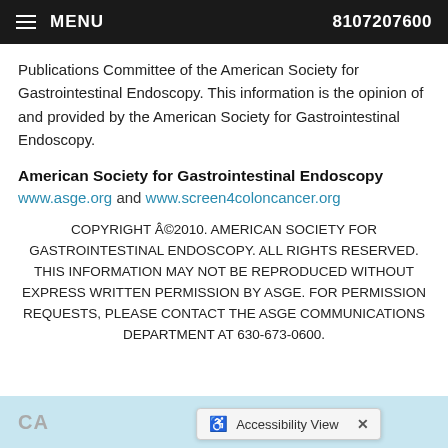≡ MENU   8107207600
Publications Committee of the American Society for Gastrointestinal Endoscopy. This information is the opinion of and provided by the American Society for Gastrointestinal Endoscopy.
American Society for Gastrointestinal Endoscopy
www.asge.org and www.screen4coloncancer.org
COPYRIGHT Â©2010. AMERICAN SOCIETY FOR GASTROINTESTINAL ENDOSCOPY. ALL RIGHTS RESERVED. THIS INFORMATION MAY NOT BE REPRODUCED WITHOUT EXPRESS WRITTEN PERMISSION BY ASGE. FOR PERMISSION REQUESTS, PLEASE CONTACT THE ASGE COMMUNICATIONS DEPARTMENT AT 630-673-0600.
[Figure (screenshot): Light blue footer bar with partial 'CA' text visible and an Accessibility View popup dialog with a wheelchair icon and X close button]